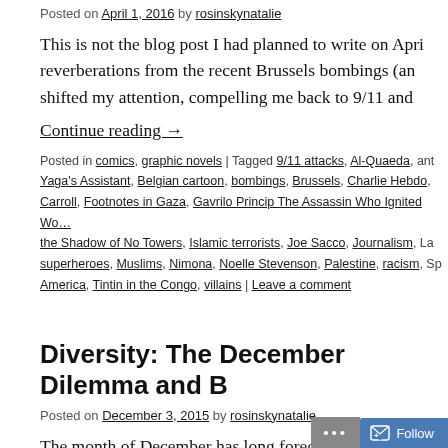Posted on April 1, 2016 by rosinskynatalie
This is not the blog post I had planned to write on Apri… reverberations from the recent Brussels bombings (an… shifted my attention, compelling me back to 9/11 and…
Continue reading →
Posted in comics, graphic novels | Tagged 9/11 attacks, Al-Quaeda, ant… Yaga's Assistant, Belgian cartoon, bombings, Brussels, Charlie Hebdo, … Carroll, Footnotes in Gaza, Gavrilo Princip The Assassin Who Ignited Wo… the Shadow of No Towers, Islamic terrorists, Joe Sacco, Journalism, La… superheroes, Muslims, Nimona, Noelle Stevenson, Palestine, racism, Sp… America, Tintin in the Congo, villains | Leave a comment
Diversity: The December Dilemma and B…
Posted on December 3, 2015 by rosinskynatalie
The month of December has long foregrounded issues… countries.  As Christmas approaches in predominantly…